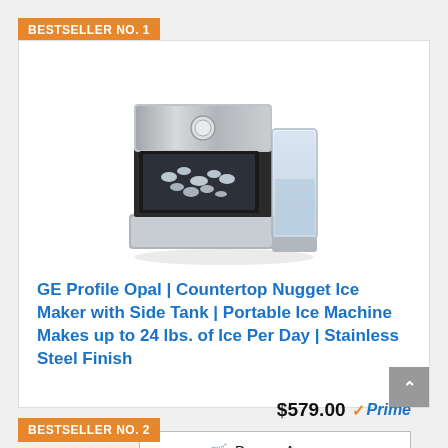BESTSELLER NO. 1
[Figure (photo): GE Profile Opal countertop nugget ice maker with side tank in stainless steel finish]
GE Profile Opal | Countertop Nugget Ice Maker with Side Tank | Portable Ice Machine Makes up to 24 lbs. of Ice Per Day | Stainless Steel Finish
$579.00 Prime
Buy on Amazon
BESTSELLER NO. 2